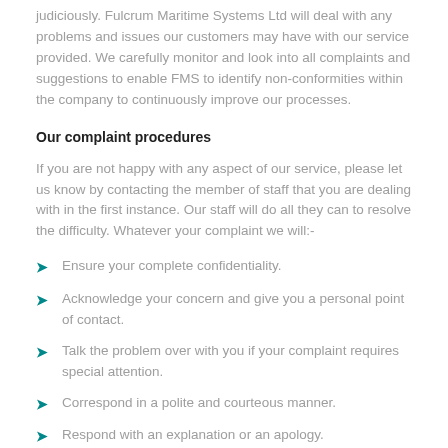judiciously. Fulcrum Maritime Systems Ltd will deal with any problems and issues our customers may have with our service provided. We carefully monitor and look into all complaints and suggestions to enable FMS to identify non-conformities within the company to continuously improve our processes.
Our complaint procedures
If you are not happy with any aspect of our service, please let us know by contacting the member of staff that you are dealing with in the first instance. Our staff will do all they can to resolve the difficulty. Whatever your complaint we will:-
Ensure your complete confidentiality.
Acknowledge your concern and give you a personal point of contact.
Talk the problem over with you if your complaint requires special attention.
Correspond in a polite and courteous manner.
Respond with an explanation or an apology.